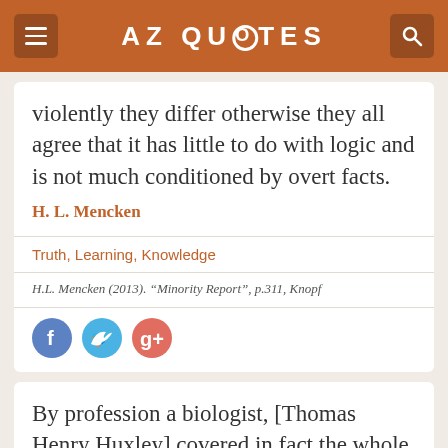AZ QUOTES
violently they differ otherwise they all agree that it has little to do with logic and is not much conditioned by overt facts.
H. L. Mencken
Truth, Learning, Knowledge
H.L. Mencken (2013). “Minority Report”, p.311, Knopf
By profession a biologist, [Thomas Henry Huxley] covered in fact the whole field of the exact sciences, and the whole length it from...